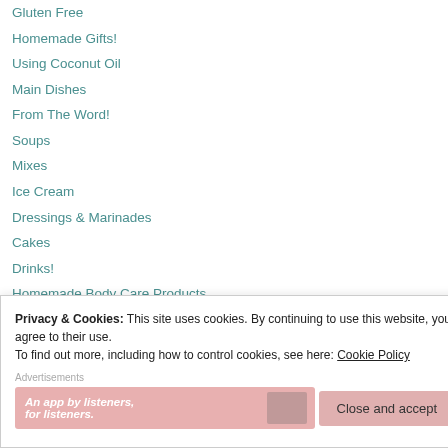Gluten Free
Homemade Gifts!
Using Coconut Oil
Main Dishes
From The Word!
Soups
Mixes
Ice Cream
Dressings & Marinades
Cakes
Drinks!
Homemade Body Care Products
Cookies
Fruit
Appetizers
Crockpot
Privacy & Cookies: This site uses cookies. By continuing to use this website, you agree to their use. To find out more, including how to control cookies, see here: Cookie Policy